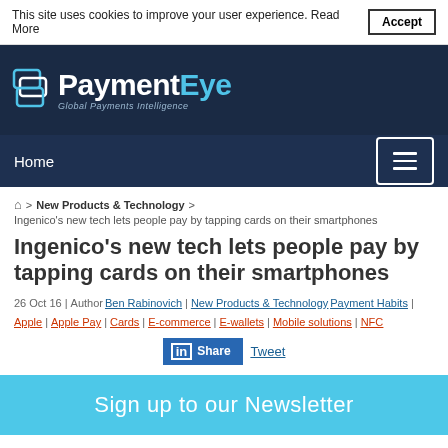This site uses cookies to improve your user experience. Read More
PaymentEye — Global Payments Intelligence
Home
Home > New Products & Technology > Ingenico's new tech lets people pay by tapping cards on their smartphones
Ingenico's new tech lets people pay by tapping cards on their smartphones
26 Oct 16 | Author Ben Rabinovich | New Products & Technology Payment Habits | Apple | Apple Pay | Cards | E-commerce | E-wallets | Mobile solutions | NFC
Share Tweet
Sign up to our Newsletter